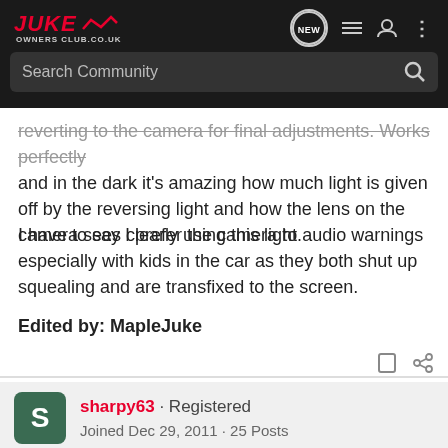Juke Owners Club - Search Community
reverting to the camera for final adjustments. Works perfectly and in the dark it's amazing how much light is given off by the reversing light and how the lens on the camera sees clearly using this light.
I have to say I prefer the camera to audio warnings especially with kids in the car as they both shut up squealing and are transfixed to the screen.
Edited by: MapleJuke
sharpy63 · Registered
Joined Dec 29, 2011 · 25 Posts